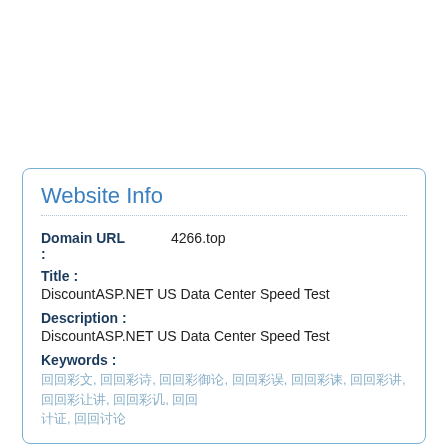Website Info
Domain URL : 4266.top
Title : DiscountASP.NET US Data Center Speed Test
Description : DiscountASP.NET US Data Center Speed Test
Keywords : [Chinese characters keywords list]